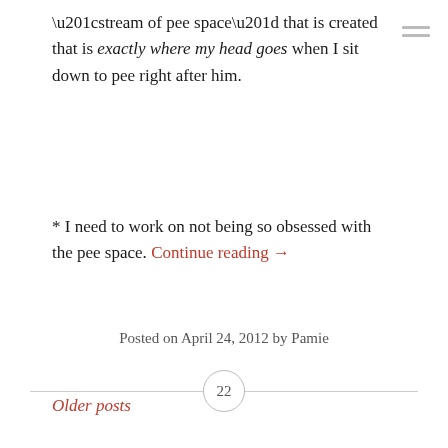“stream of pee space” that is created that is exactly where my head goes when I sit down to pee right after him.
* I need to work on not being so obsessed with the pee space. Continue reading →
Posted on April 24, 2012 by Pamie
22
Older posts